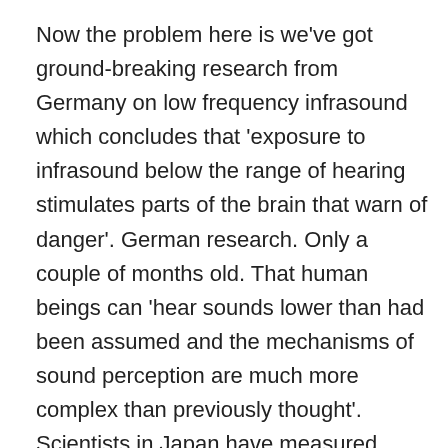Now the problem here is we've got ground-breaking research from Germany on low frequency infrasound which concludes that 'exposure to infrasound below the range of hearing stimulates parts of the brain that warn of danger'. German research. Only a couple of months old. That human beings can 'hear sounds lower than had been assumed and the mechanisms of sound perception are much more complex than previously thought'. Scientists in Japan have measured brain function and reported last year – it showed the brains of Japanese wind turbine workers could not achieve a relaxed state.  In Tehran a study of 45 people, found that despite all the 'good benefits' of wind turbines, it can be stated, this technology has health risks. The German project leader, Christian Cox said, 'it's been agreed that infrasound is perceived by human beings and